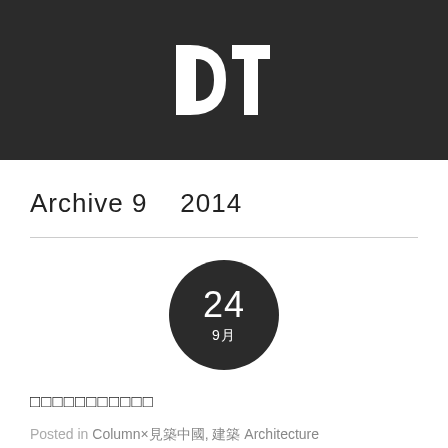[Figure (logo): DT logo in white on dark background — stylized D and T letterforms]
Archive 9    2014
[Figure (infographic): Dark circle badge showing date: 24 / 9月]
□□□□□□□□□□□
Posted in Column×見築中國, 建築 Architecture